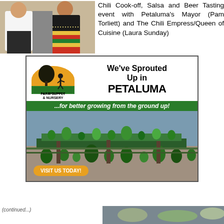[Figure (photo): Two people at Chili Cook-off event, one in white shirt and one in colorful festive outfit]
Chili Cook-off, Salsa and Beer Tasting event with Petaluma's Mayor (Pam Torliett) and The Chili Empress/Queen of Cuisine (Laura Sunday)
[Figure (illustration): Harmony Farm Supply & Nursery advertisement: 'We've Sprouted Up in PETALUMA ...for better growing from the ground up!' with logo, nursery photo, and VISIT US TODAY button]
[Figure (photo): Bottom strip partial photo, partially cut off]